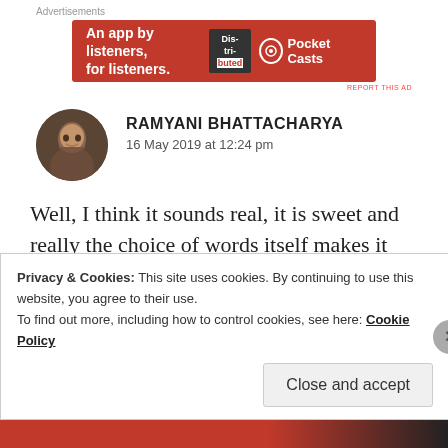Advertisements
[Figure (illustration): Red advertisement banner for Pocket Casts app: 'An app by listeners, for listeners.' with podcast app logo on dark red background]
REPORT THIS AD
RAMYANI BHATTACHARYA
16 May 2019 at 12:24 pm
Well, I think it sounds real, it is sweet and really the choice of words itself makes it kinda real. I don't know, what is it? 😂😂 But I loved reading it
Privacy & Cookies: This site uses cookies. By continuing to use this website, you agree to their use.
To find out more, including how to control cookies, see here: Cookie Policy
Close and accept